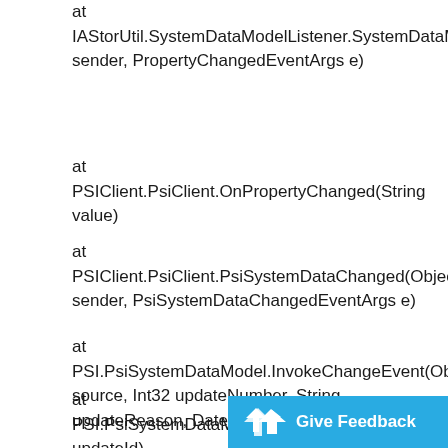at IAStorUtil.SystemDataModelListener.SystemDataModelChanged(Object sender, PropertyChangedEventArgs e)
at PSIClient.PsiClient.OnPropertyChanged(String value)
at PSIClient.PsiClient.PsiSystemDataChanged(Object sender, PsiSystemDataChangedEventArgs e)
at PSI.PsiSystemDataModel.InvokeChangeEvent(Object source, Int32 updateNumber, String updateReason, DateTime updateTime)
at PSI.PsiSystemDataModel.EndUpdate(Int32 updateId)